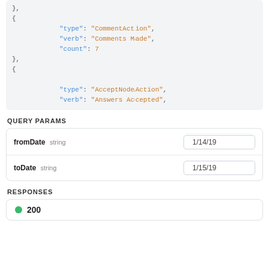},
{
  "type": "CommentAction",
  "verb": "Comments Made",
  "count": 7
},
{
  "type": "AcceptNodeAction",
  "verb": "Answers Accepted",
QUERY PARAMS
| Parameter | Type | Value |
| --- | --- | --- |
| fromDate | string | 1/14/19 |
| toDate | string | 1/15/19 |
RESPONSES
200